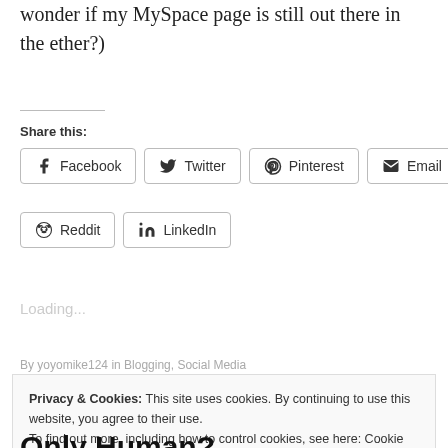wonder if my MySpace page is still out there in the ether?)
Share this:
Facebook  Twitter  Pinterest  Email  Reddit  LinkedIn
Loading...
By yoyomike124 in Blogging, Social Media
Privacy & Cookies: This site uses cookies. By continuing to use this website, you agree to their use. To find out more, including how to control cookies, see here: Cookie Policy
Close and accept
Only Human?